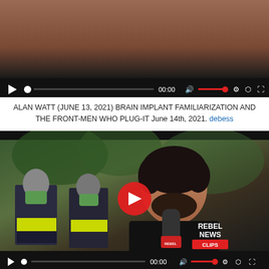[Figure (screenshot): Video player showing a video thumbnail with a partially visible face and TheMatrix.com watermark in top right. Controls bar shows play button, progress bar, 00:00 timestamp, volume icon, red volume slider, settings gear, share and fullscreen icons.]
ALAN WATT (JUNE 13, 2021) BRAIN IMPLANT FAMILIARIZATION AND THE FRONT-MEN WHO PLUG-IT June 14th, 2021. debess
[Figure (screenshot): Video player showing a man with curly dark hair holding a microphone with REBEL branding, speaking outdoors. Two police officers wearing green masks and hi-vis vests visible in background. Red play button in center. REBEL NEWS CLIPS logo bottom right. Controls show 00:00 timestamp.]